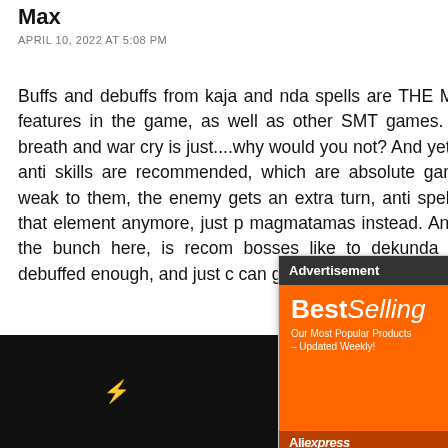Max
APRIL 10, 2022 AT 5:08 PM
Buffs and debuffs from kaja and nda spells are THE MOST IMPORTANT features in the game, as well as other SMT games. So, not taking fog breath and war cry is just....why would you not? And yet, anti-fire and other anti skills are recommended, which are absolute garbage, you are still weak to them, the enemy gets an extra turn, anti spells don't mea about that element anymore, just p magmatamas instead. And then, ta useful of the bunch here, is recom bosses like to dekunda debuffs off they're debuffed enough, and just d can go a looooooong way, let alor
[Figure (screenshot): Advertisement overlay with orange BestSelling AliExpress banner ad with shopping cart graphic and 'Shop Now' button]